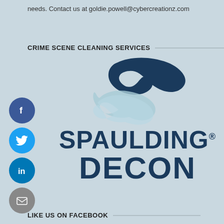needs. Contact us at goldie.powell@cybercreationz.com
CRIME SCENE CLEANING SERVICES
[Figure (logo): Spaulding Decon logo with two stylized bird/hand shapes in dark blue and light blue, above the text SPAULDING DECON in dark navy bold letters]
LIKE US ON FACEBOOK